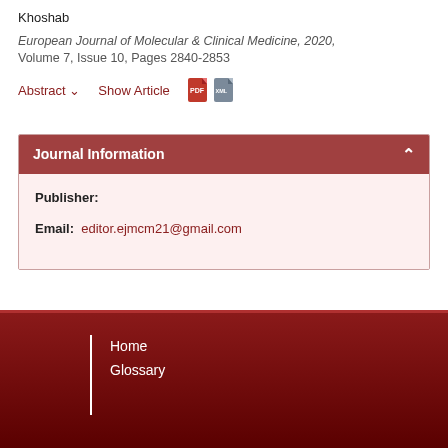Khoshab
European Journal of Molecular & Clinical Medicine, 2020, Volume 7, Issue 10, Pages 2840-2853
Abstract ▾    Show Article
Journal Information
Publisher:
Email: editor.ejmcm21@gmail.com
Home
Glossary